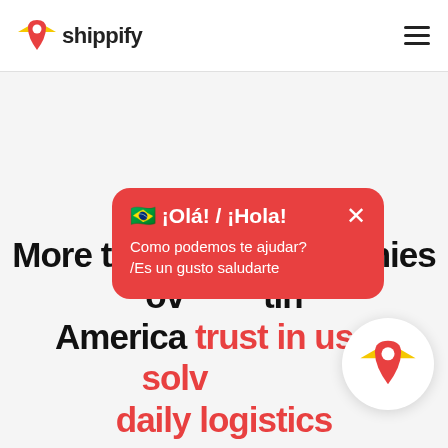shippify
🇧🇷 ¡Olá! / ¡Hola!
Como podemos te ajudar? /Es un gusto saludarte
More than 1613 companies over Latin America trust in us to solve your daily logistics